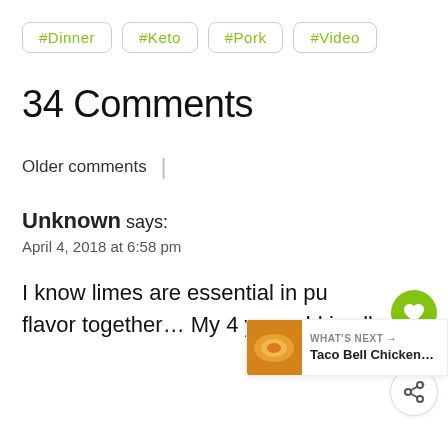#Dinner
#Keto
#Pork
#Video
34 Comments
Older comments
Unknown says: April 4, 2018 at 6:58 pm
I know limes are essential in pu… flavor together… My 4 year old is allergic